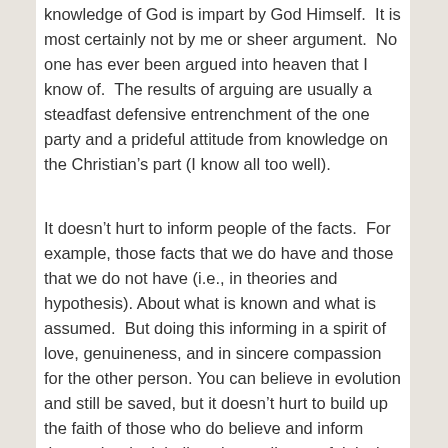knowledge of God is impart by God Himself.  It is most certainly not by me or sheer argument.  No one has ever been argued into heaven that I know of.  The results of arguing are usually a steadfast defensive entrenchment of the one party and a prideful attitude from knowledge on the Christian's part (I know all too well).
It doesn't hurt to inform people of the facts.  For example, those facts that we do have and those that we do not have (i.e., in theories and hypothesis). About what is known and what is assumed.  But doing this informing in a spirit of love, genuineness, and in sincere compassion for the other person. You can believe in evolution and still be saved, but it doesn't hurt to build up the faith of those who do believe and inform those who don't believe in an all-powerful, loving